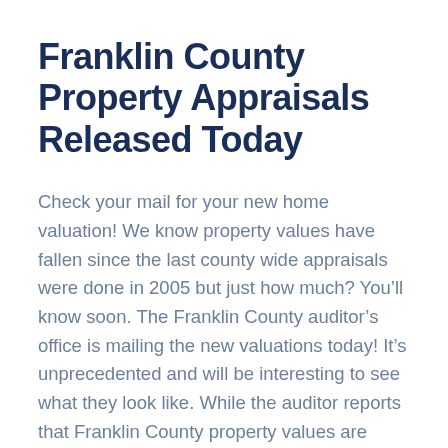Franklin County Property Appraisals Released Today
Check your mail for your new home valuation! We know property values have fallen since the last county wide appraisals were done in 2005 but just how much? You’ll know soon. The Franklin County auditor’s office is mailing the new valuations today! It’s unprecedented and will be interesting to see what they look like. While the auditor reports that Franklin County property values are down 6.7%